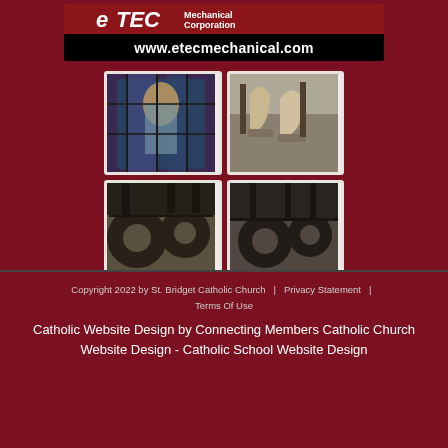[Figure (logo): eTEC Mechanical Corporation logo with website URL www.etecmechanical.com on black background]
[Figure (photo): 2x2 grid of four photos: stained glass window with saint figure, church bell closeup, dark church bell machinery, dark church bell mechanism]
Copyright 2022 by St. Bridget Catholic Church  |  Privacy Statement  |  Terms Of Use
Catholic Website Design by Connecting Members Catholic Church Website Design - Catholic School Website Design